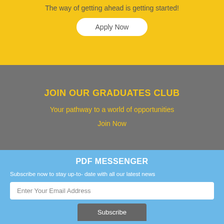The way of getting ahead is getting started!
Apply Now
JOIN OUR GRADUATES CLUB
Your pathway to a world of opportunities
Join Now
PDF MESSENGER
Subscribe now to stay up-to- date with all our latest news
Enter Your Email Address
Subscribe